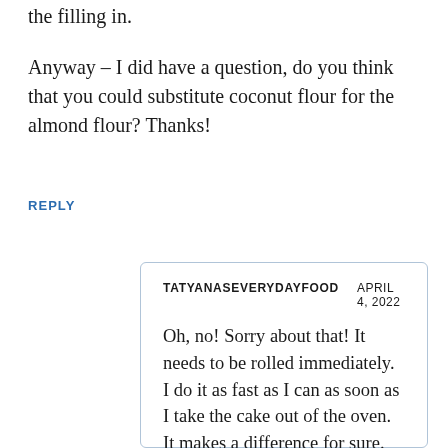the filling in.
Anyway – I did have a question, do you think that you could substitute coconut flour for the almond flour? Thanks!
REPLY
TATYANASEVERYDAYFOOD   APRIL 4, 2022

Oh, no! Sorry about that! It needs to be rolled immediately. I do it as fast as I can as soon as I take the cake out of the oven. It makes a difference for sure. I'm glad you still enjoyed it!
I personally haven't tried using coconut...